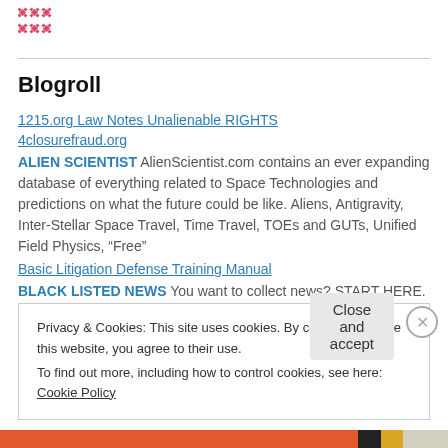[Figure (logo): Pink/red decorative quilt-pattern logo in top left corner]
Blogroll
1215.org Law Notes Unalienable RIGHTS
4closurefraud.org
ALIEN SCIENTIST AlienScientist.com contains an ever expanding database of everything related to Space Technologies and predictions on what the future could be like. Aliens, Antigravity, Inter-Stellar Space Travel, Time Travel, TOEs and GUTs, Unified Field Physics, “Free”
Basic Litigation Defense Training Manual
BLACK LISTED NEWS You want to collect news? START HERE.
Privacy & Cookies: This site uses cookies. By continuing to use this website, you agree to their use.
To find out more, including how to control cookies, see here: Cookie Policy
Close and accept